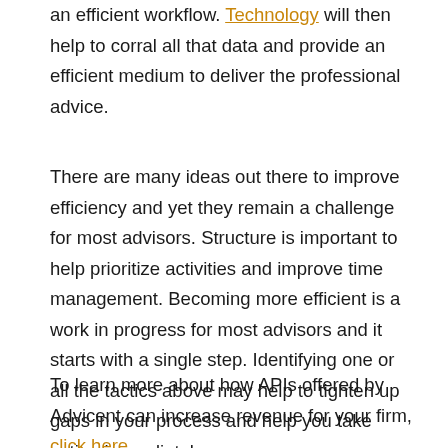an efficient workflow. Technology will then help to corral all that data and provide an efficient medium to deliver the professional advice.
There are many ideas out there to improve efficiency and yet they remain a challenge for most advisors. Structure is important to help prioritize activities and improve time management. Becoming more efficient is a work in progress for most advisors and it starts with a single step. Identifying one or all the tactics above may help to tighten up gaps in your process and help you take action immediately.
To learn more about how APIs offered by Advicent can increase revenue for your firm, click here.